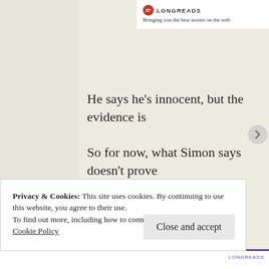LONGREADS — Bringing you the best stories on the web
He says he's innocent, but the evidence is
So for now, what Simon says doesn't prove
---
I catch bad guys for a living.
I never thought I'd be one.
Privacy & Cookies: This site uses cookies. By continuing to use this website, you agree to their use.
To find out more, including how to control cookies, see here:
Cookie Policy
Close and accept